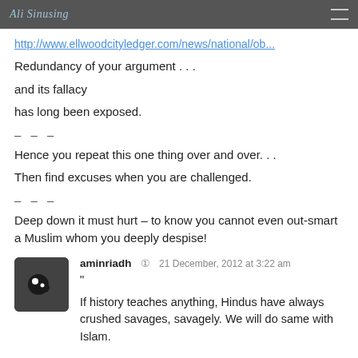Ali Siniang
http://www.ellwoodcityledger.com/news/national/ob...
Redundancy of your argument . . .
and its fallacy
has long been exposed.
– – –
Hence you repeat this one thing over and over. . .
Then find excuses when you are challenged.
– – –
Deep down it must hurt – to know you cannot even out-smart a Muslim whom you deeply despise!
aminriadh  21 December, 2012 at 3:22 am
"
If history teaches anything, Hindus have always crushed savages, savagely. We will do same with Islam.